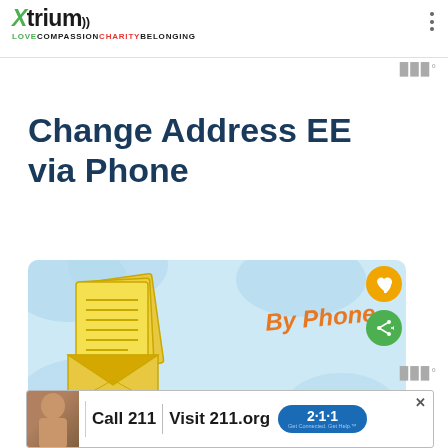Xtrium — LOVE COMPASSION CHARITY BELONGING
Change Address EE via Phone
[Figure (illustration): Illustration of stacked yellow documents/letters with an envelope, on a light blue cloud background. Text 'By Phone' in orange italic script.]
[Figure (photo): Ad banner: child photo on left, 'Call 211 | Visit 211.org' with 2-1-1 badge logo.]